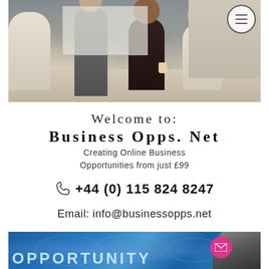[Figure (photo): Business meeting photo showing people around a table in an office setting, with a circular hamburger menu icon in the top-right corner]
Welcome to:
Business Opps. Net
Creating Online Business Opportunities from just £99
☎ +44 (0) 115 824 8247
Email: info@businessopps.net
[Figure (photo): Blue world map background with a suited businessman and 'OPPORTUNITY' text at the bottom, with a pink mail button overlay]